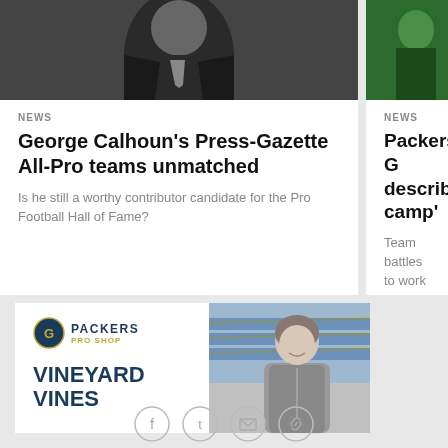[Figure (photo): Black and white photo of a man in a suit and tie]
NEWS
George Calhoun's Press-Gazette All-Pro teams unmatched
Is he still a worthy contributor candidate for the Pro Football Hall of Fame?
[Figure (photo): Color photo of a person in green athletic clothing]
NEWS
Packers G describes camp'
Team battles to work before w
[Figure (infographic): Packers Pro Shop advertisement featuring Vineyard Vines with logo and a woman wearing Packers gear in a stadium]
[Figure (other): Social media sharing icons: Facebook, Twitter, email, and link]